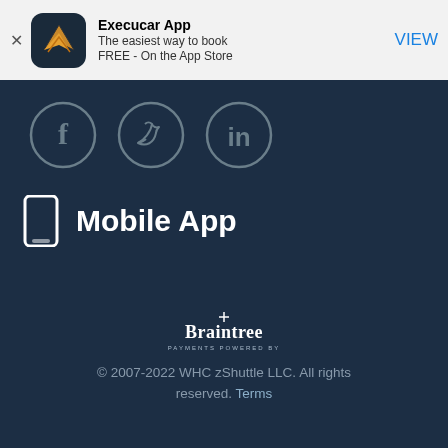[Figure (screenshot): App store banner for Execucar App with logo, title, subtitle, and VIEW button]
[Figure (infographic): Social media icons: Facebook, Twitter, LinkedIn in circles on dark navy background]
Mobile App
[Figure (logo): Braintree Payments Powered By logo in white on dark navy background]
© 2007-2022 WHC zShuttle LLC. All rights reserved. Terms